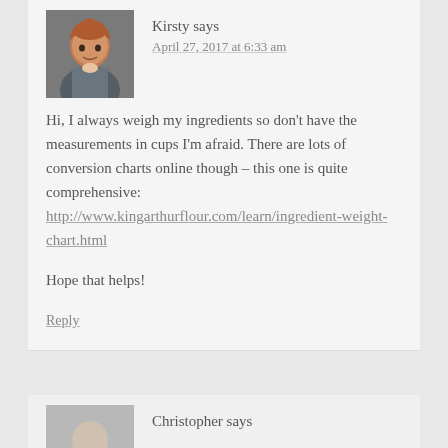Kirsty says
April 27, 2017 at 6:33 am
Hi, I always weigh my ingredients so don't have the measurements in cups I'm afraid. There are lots of conversion charts online though – this one is quite comprehensive: http://www.kingarthurflour.com/learn/ingredient-weight-chart.html
Hope that helps!
Reply
Christopher says